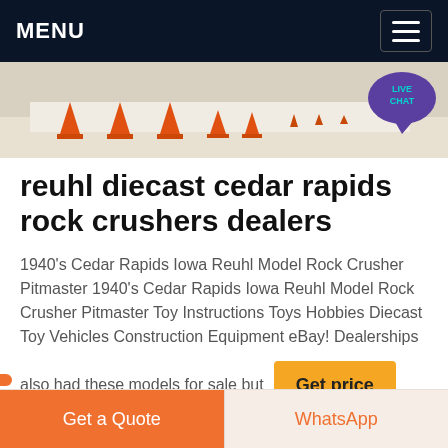MENU
[Figure (photo): Hero image strip showing a road or construction site scene with orange cones, plus a Live Chat speech bubble overlay in teal/purple]
reuhl diecast cedar rapids rock crushers dealers
1940's Cedar Rapids Iowa Reuhl Model Rock Crusher Pitmaster 1940's Cedar Rapids Iowa Reuhl Model Rock Crusher Pitmaster Toy Instructions Toys Hobbies Diecast Toy Vehicles Construction Equipment eBay! Dealerships
also had these models for sale but
Get price
Get a Quote
WhatsApp